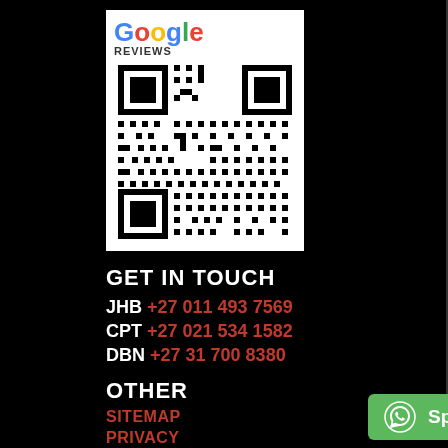[Figure (other): Google Reviews QR code with Google logo in blue, red, yellow, green colors and text REVIEWS above a QR code on white background]
GET IN TOUCH
JHB  +27 011 493 7569
CPT  +27 021 534 1582
DBN  +27 31 700 8380
OTHER
SITEMAP
PRIVACY
POPI ACT POLI
QUICK LINKS
[Figure (other): Green WhatsApp button with chat icon and text: Speak to a Consultant]